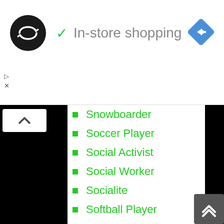[Figure (logo): Black circle logo with double arrow icon (infinite/loop symbol in white)]
✓ In-store shopping
[Figure (other): Blue diamond navigation/turn-right icon]
Snowboarder
Soccer Player
Social Activist
Social Worker
Socialite
Softball Player
Songwriter
Songwriter Actor
Spokesperson
Sports Analyst
Sports Anchor
Sports Commentator